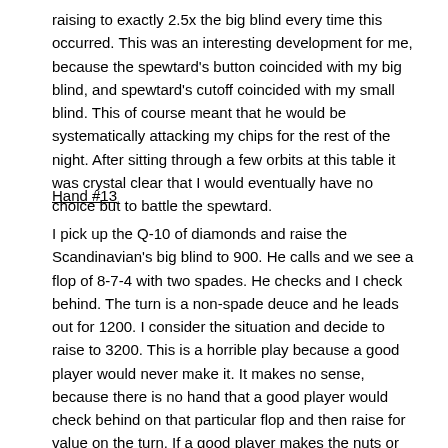raising to exactly 2.5x the big blind every time this occurred. This was an interesting development for me, because the spewtard's button coincided with my big blind, and spewtard's cutoff coincided with my small blind. This of course meant that he would be systematically attacking my chips for the rest of the night. After sitting through a few orbits at this table it was crystal clear that I would eventually have no choice but to battle the spewtard.
Hand #13
I pick up the Q-10 of diamonds and raise the Scandinavian's big blind to 900. He calls and we see a flop of 8-7-4 with two spades. He checks and I check behind. The turn is a non-spade deuce and he leads out for 1200. I consider the situation and decide to raise to 3200. This is a horrible play because a good player would never make it. It makes no sense, because there is no hand that a good player would check behind on that particular flop and then raise for value on the turn. If a good player makes the nuts or flops a set on a super coordinated board like the one in this hand, he is almost never going to